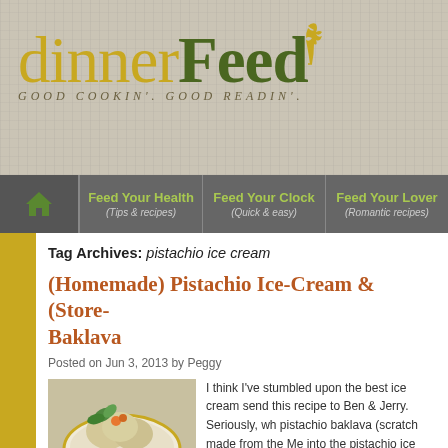[Figure (logo): dinnerFeed logo with wheat icon and tagline 'GOOD COOKIN'. GOOD READIN'.' on burlap texture background]
[Figure (screenshot): Navigation bar with home icon, Feed Your Health (Tips & recipes), Feed Your Clock (Quick & easy), Feed Your Lover (Romantic recipes)]
Tag Archives: pistachio ice cream
(Homemade) Pistachio Ice-Cream & (Store- Baklava
Posted on Jun 3, 2013 by Peggy
[Figure (photo): Photo of pistachio ice cream scoops on a plate with mint garnish and orange sprinkles]
I think I've stumbled upon the best ice cream send this recipe to Ben & Jerry. Seriously, wh pistachio baklava (scratch made from the Me into the pistachio ice cream (made with my K could hear the flutter of angel wings. I served